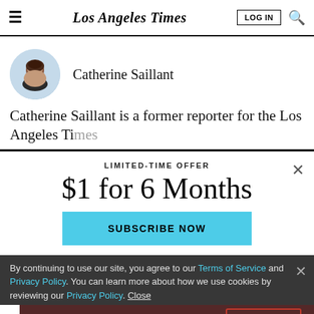Los Angeles Times
[Figure (photo): Headshot of Catherine Saillant, a woman with dark hair]
Catherine Saillant
Catherine Saillant is a former reporter for the Los Angeles Times.
LIMITED-TIME OFFER
$1 for 6 Months
SUBSCRIBE NOW
By continuing to use our site, you agree to our Terms of Service and Privacy Policy. You can learn more about how we use cookies by reviewing our Privacy Policy. Close
MAY - OCT 2022  GET TICKETS